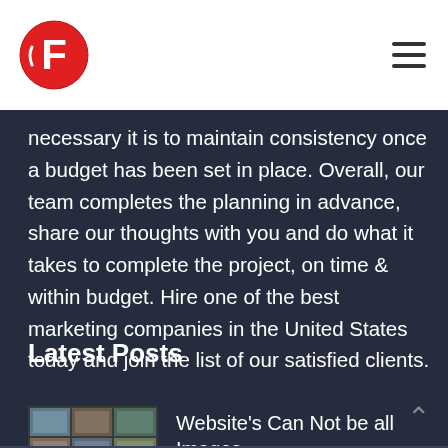necessary it is to maintain consistency once a budget has been set in place. Overall, our team completes the planning in advance, share our thoughts with you and do what it takes to complete the project, on time & within budget. Hire one of the best marketing companies in the United States today and join the list of our satisfied clients.
Latest Posts
Website's Can Not be all Images
August 17, 2022